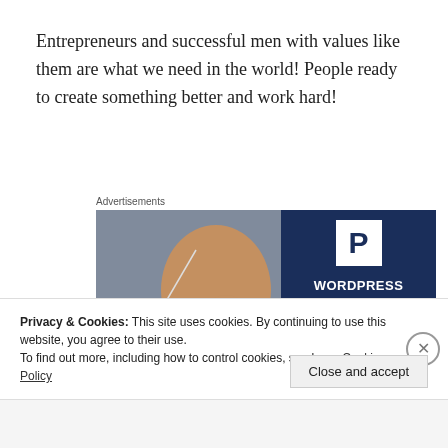Entrepreneurs and successful men with values like them are what we need in the world! People ready to create something better and work hard!
Advertisements
[Figure (photo): Advertisement banner split into two halves: left side shows a photo of a smiling woman holding an OPEN sign in a shop doorway; right side is dark navy with a white P logo box and bold white text reading WORDPRESS HOSTING THAT MEANS]
Privacy & Cookies: This site uses cookies. By continuing to use this website, you agree to their use.
To find out more, including how to control cookies, see here: Cookie Policy
Close and accept